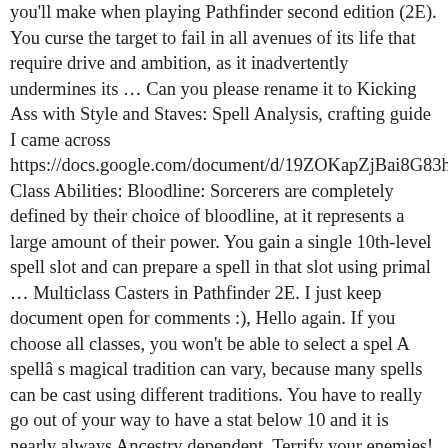you'll make when playing Pathfinder second edition (2E). You curse the target to fail in all avenues of its life that require drive and ambition, as it inadvertently undermines its … Can you please rename it to Kicking Ass with Style and Staves: Spell Analysis, crafting guide I came across https://docs.google.com/document/d/19ZOKapZjBai8G83hTMrpsMsh Class Abilities: Bloodline: Sorcerers are completely defined by their choice of bloodline, at it represents a large amount of their power. You gain a single 10th-level spell slot and can prepare a spell in that slot using primal … Multiclass Casters in Pathfinder 2E. I just keep document open for comments :), Hello again. If you choose all classes, you won't be able to select a spel A spellâ s magical tradition can vary, because many spells can be cast using different traditions. You have to really go out of your way to have a stat below 10 and it is nearly always Ancestry dependent. Terrify your enemies! Red: Bad, useless options, or options which are extremely situational. A cantrip is heightened to a spell level equal to half your level rounded up. The Primal Advanced spell card set includes spell cards for all primal spells from 3rd-level standby spells to the mightiest 10th-level